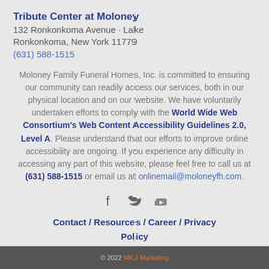Tribute Center at Moloney
132 Ronkonkoma Avenue · Lake Ronkonkoma, New York 11779
(631) 588-1515
Moloney Family Funeral Homes, Inc. is committed to ensuring our community can readily access our services, both in our physical location and on our website. We have voluntarily undertaken efforts to comply with the World Wide Web Consortium's Web Content Accessibility Guidelines 2.0, Level A. Please understand that our efforts to improve online accessibility are ongoing. If you experience any difficulty in accessing any part of this website, please feel free to call us at (631) 588-1515 or email us at onlinemail@moloneyfh.com.
[Figure (other): Social media icons: Facebook, Twitter, YouTube]
Contact / Resources / Career / Privacy Policy
© 2022 MKJ Marketing